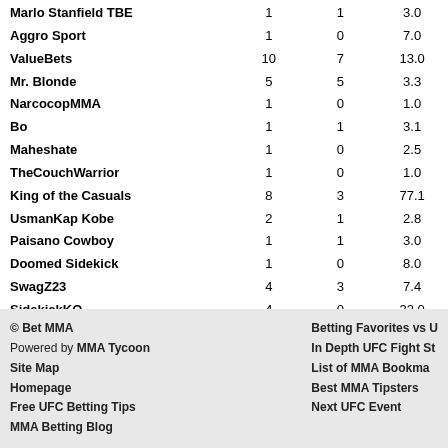| Marlo Stanfield TBE | 1 | 1 | 3.0 |
| Aggro Sport | 1 | 0 | 7.0 |
| ValueBets | 10 | 7 | 13.0 |
| Mr. Blonde | 5 | 5 | 3.3 |
| NarcocopMMA | 1 | 0 | 1.0 |
| Bo | 1 | 1 | 3.1 |
| Maheshate | 1 | 0 | 2.5 |
| TheCouchWarrior | 1 | 0 | 1.0 |
| King of the Casuals | 8 | 3 | 77.1 |
| UsmanKap Kobe | 2 | 1 | 2.8 |
| Paisano Cowboy | 1 | 1 | 3.0 |
| Doomed Sidekick | 1 | 0 | 8.0 |
| SwagZ23 | 4 | 3 | 7.4 |
| SidekickKO | 4 | 0 | 32.0 |
| Josh | 2 | 2 | 5.0 |
| DIRTYMITTENMMA | 1 | 1 | 1.3 |
© Bet MMA Powered by MMA Tycoon Site Map Homepage Free UFC Betting Tips MMA Betting Blog | Betting Favorites vs U In Depth UFC Fight St List of MMA Bookma Best MMA Tipsters Next UFC Event